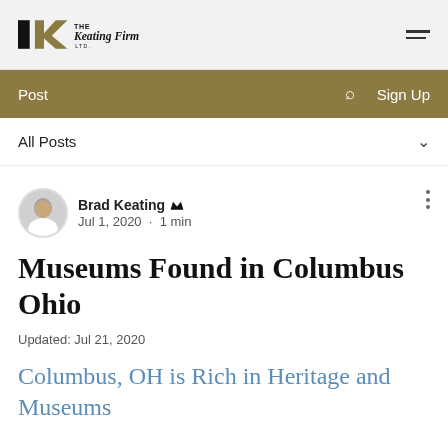THE KEATING FIRM LTD.
Post  🔍  Sign Up
All Posts
Brad Keating  Admin
Jul 1, 2020 · 1 min
Museums Found in Columbus Ohio
Updated: Jul 21, 2020
Columbus, OH is Rich in Heritage and Museums